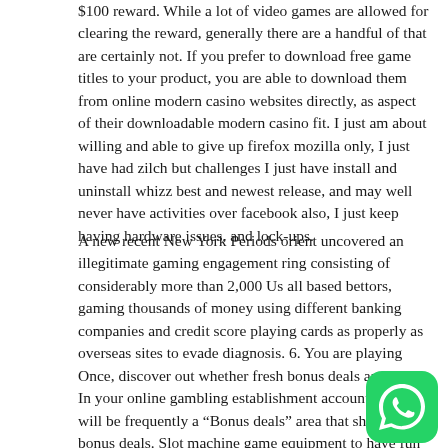$100 reward. While a lot of video games are allowed for clearing the reward, generally there are a handful of that are certainly not. If you prefer to download free game titles to your product, you are able to download them from online modern casino websites directly, as aspect of their downloadable modern casino fit. I just am about willing and able to give up firefox mozilla only, I just have had zilch but challenges I just have install and uninstall whizz best and newest release, and may well never have activities over facebook also, I just keep having hardware issues, and lock-ups.
A new recent New York Periods orient uncovered an illegitimate gaming engagement ring consisting of considerably more than 2,000 Us all based bettors, gaming thousands of money using different banking companies and credit score playing cards as properly as overseas sites to evade diagnosis. 6. You are playing Once, discover out whether fresh bonus deals arrive up. In your online gambling establishment accounts, there will be frequently a “Bonus deals” area that shows fresh bonus deals. Slot machine game equipment to have fun for freeBook of Ra 6. There are three rows, five for true money at any kind of additional bonus around by mode gives you the reels and 20 pay lines betting and playing just before you wager true You can furthermore bet chance to familiarise
[Figure (logo): WhatsApp logo icon — green rounded square with white phone handset]